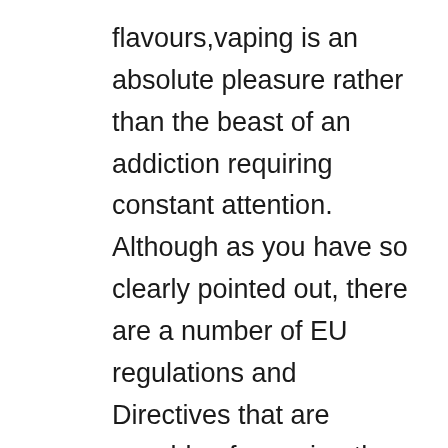flavours,vaping is an absolute pleasure rather than the beast of an addiction requiring constant attention. Although as you have so clearly pointed out, there are a number of EU regulations and Directives that are capable of covering the many concerns over what is not just a new product but one into which we imbibe and fill our bodies. This is of course so vulnerable to unethical practices of which as the recent horse meat scandal so clearly demonstrated, there is unfortunately no shortage of companies willing and un-ambivalent when it comes to risking the well-being of the trusting consumer just to increase profit margins. In the United Kingdom the dual nature of our legal system does not officially make legitimate EU law until an Act of parliament creates and includes the